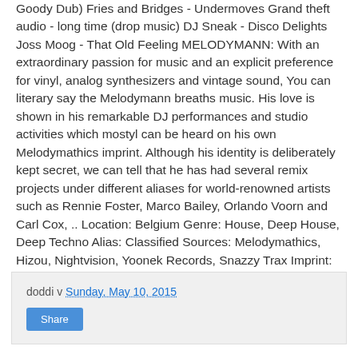Goody Dub) Fries and Bridges - Undermoves Grand theft audio - long time (drop music) DJ Sneak - Disco Delights Joss Moog - That Old Feeling MELODYMANN: With an extraordinary passion for music and an explicit preference for vinyl, analog synthesizers and vintage sound, You can literary say the Melodymann breaths music. His love is shown in his remarkable DJ performances and studio activities which mostyl can be heard on his own Melodymathics imprint. Although his identity is deliberately kept secret, we can tell that he has had several remix projects under different aliases for world-renowned artists such as Rennie Foster, Marco Bailey, Orlando Voorn and Carl Cox, .. Location: Belgium Genre: House, Deep House, Deep Techno Alias: Classified Sources: Melodymathics, Hizou, Nightvision, Yoonek Records, Snazzy Trax Imprint: Melodymathics http://ift.tt/1zQ5nXJ Bookings : info@melodymathics.com
doddi v Sunday, May 10, 2015
Share